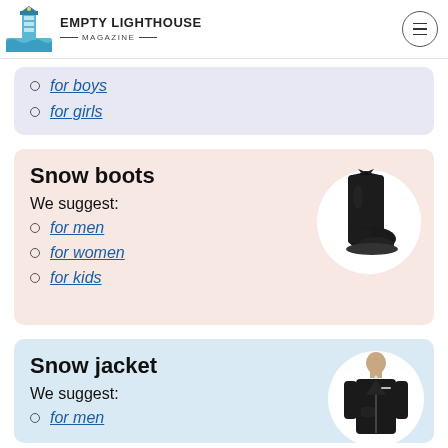EMPTY LIGHTHOUSE MAGAZINE
for boys
for girls
Snow boots
We suggest:
for men
for women
for kids
[Figure (photo): Black snow boot product photo on white circular background]
Snow jacket
We suggest:
for men
[Figure (photo): Person wearing black snow jacket product photo on white circular background]